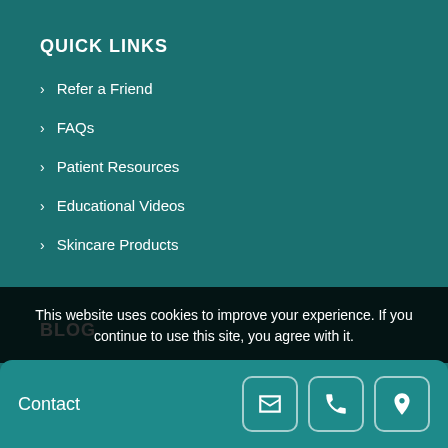QUICK LINKS
Refer a Friend
FAQs
Patient Resources
Educational Videos
Skincare Products
BLOG
[Figure (photo): Circular thumbnail image of a person's torso with a measuring tape around it, shown against teal background]
Weight Loss Goals for 2018
This website uses cookies to improve your experience. If you continue to use this site, you agree with it.
Contact